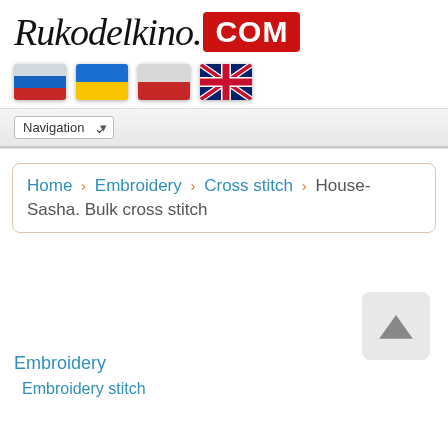Rukodelkino.COM
[Figure (illustration): Four country flags in a row: Russian flag, Ukrainian flag, Polish flag, UK flag]
Navigation (dropdown)
Home › Embroidery › Cross stitch › House-Sasha. Bulk cross stitch
[Figure (illustration): Back to top arrow button]
Embroidery
Embroidery stitch